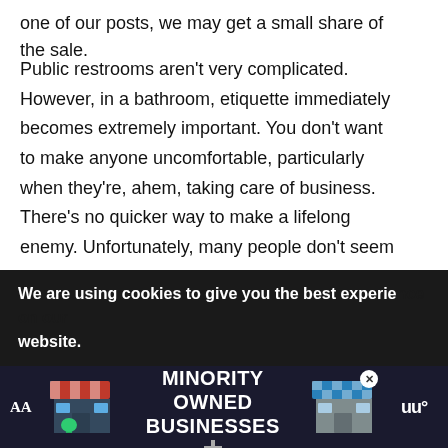one of our posts, we may get a small share of the sale.
Public restrooms aren't very complicated. However, in a bathroom, etiquette immediately becomes extremely important. You don't want to make anyone uncomfortable, particularly when they're, ahem, taking care of business. There's no quicker way to make a lifelong enemy. Unfortunately, many people don't seem to understand the basic rules of using a public bathroom. That can result in some appallingly selfish behavior. Don't be one of those people. Here are the basic unspoken rules we all agree when we use public bathrooms; memorize them to avoid an embarrassing faux pas.
We are using cookies to give you the best experience on our website.
[Figure (infographic): Advertisement banner: UPLIFT MINORITY OWNED BUSINESSES with store illustrations]